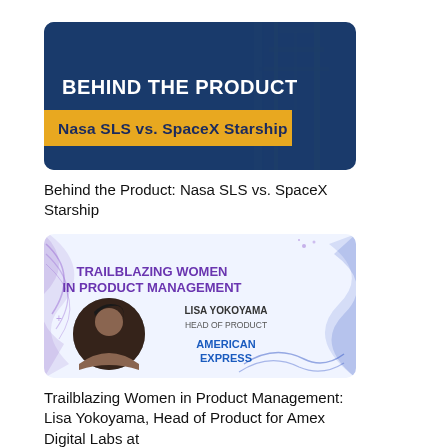[Figure (illustration): Thumbnail image with dark blue background showing rocket launch structure. Bold white text reads 'BEHIND THE PRODUCT' and a gold/yellow banner below reads 'Nasa SLS vs. SpaceX Starship']
Behind the Product: Nasa SLS vs. SpaceX Starship
[Figure (illustration): Promotional image with white/light background and purple/blue decorative curves. Text reads 'TRAILBLAZING WOMEN IN PRODUCT MANAGEMENT' in purple. Shows circular portrait photo of Lisa Yokoyama. Text: 'LISA YOKOYAMA', 'HEAD OF PRODUCT', 'AMERICAN EXPRESS' in blue.]
Trailblazing Women in Product Management: Lisa Yokoyama, Head of Product for Amex Digital Labs at